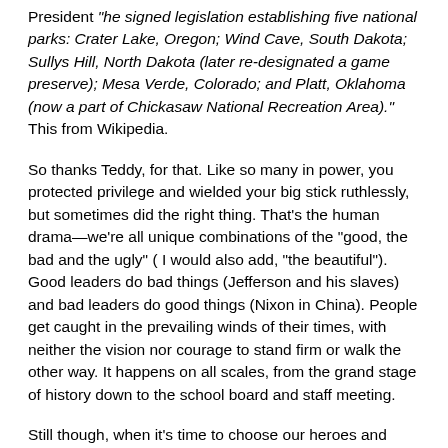President "he signed legislation establishing five national parks: Crater Lake, Oregon; Wind Cave, South Dakota; Sullys Hill, North Dakota (later re-designated a game preserve); Mesa Verde, Colorado; and Platt, Oklahoma (now a part of Chickasaw National Recreation Area)." This from Wikipedia.
So thanks Teddy, for that. Like so many in power, you protected privilege and wielded your big stick ruthlessly, but sometimes did the right thing. That's the human drama—we're all unique combinations of the "good, the bad and the ugly" ( I would also add, "the beautiful"). Good leaders do bad things (Jefferson and his slaves) and bad leaders do good things (Nixon in China). People get caught in the prevailing winds of their times, with neither the vision nor courage to stand firm or walk the other way. It happens on all scales, from the grand stage of history down to the school board and staff meeting.
Still though, when it's time to choose our heroes and pass them on to the next generation, I much prefer William James and Mark Twain, two contemporaries who criticized